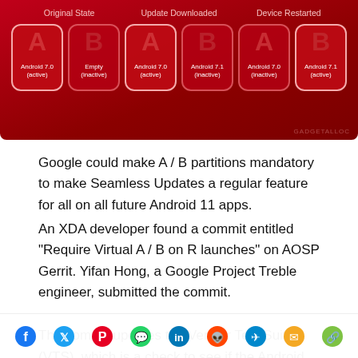[Figure (infographic): Android A/B partition diagram showing Original State, Update Downloaded, and Device Restarted columns, each with two partition cards (A and B) showing Android version and active/inactive status on a red background.]
Google could make A / B partitions mandatory to make Seamless Updates a regular feature for all on all future Android 11 apps. An XDA developer found a commit entitled “Require Virtual A / B on R launches” on AOSP Gerrit. Yifan Hong, a Google Project Treble engineer, submitted the commit.
The commit updates the Vendor Test Suite (VTS), which is a check to see if the Android smartphone is compliant with Pr or
[Figure (infographic): Social sharing icon bar with Facebook, Twitter, Pinterest, WhatsApp, LinkedIn, Reddit, Telegram, Email, and Link icons.]